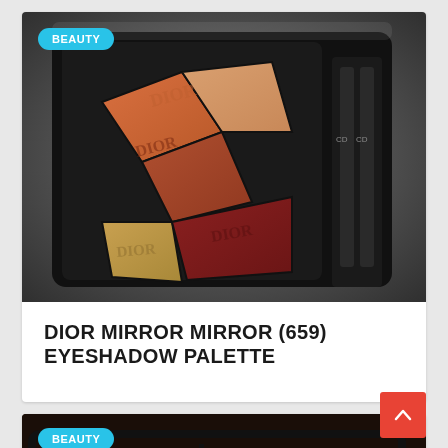[Figure (photo): Dior eyeshadow palette (Mirror Mirror 659) open showing five metallic shades in orange, peach, bronze, burgundy and dark red with Dior branding embossed, accompanied by applicators, on a white background.]
DIOR MIRROR MIRROR (659) EYESHADOW PALETTE
[Figure (photo): Partial view of a second Dior eyeshadow palette showing warm brown and copper shades in an open black compact.]